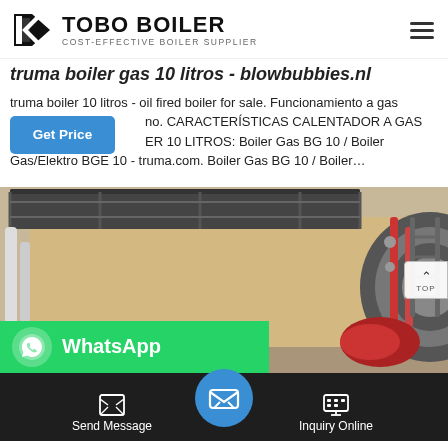TOBO BOILER - COST-EFFECTIVE BOILER SUPPLIER
truma boiler gas 10 litros - blowbubbies.nl
truma boiler 10 litros - oil fired boiler for sale. Funcionamiento a gas no. CARACTERÍSTICAS CALENTADOR A GAS ER 10 LITROS: Boiler Gas BG 10 / Boiler Gas/Elektro BGE 10 - truma.com. Boiler Gas BG 10 / Boiler...
[Figure (photo): Industrial boiler room with large cylindrical boiler, pipework, metal walkway and red burner assembly]
[Figure (infographic): WhatsApp contact bar with green background and WhatsApp logo]
Send Message | Inquiry Online